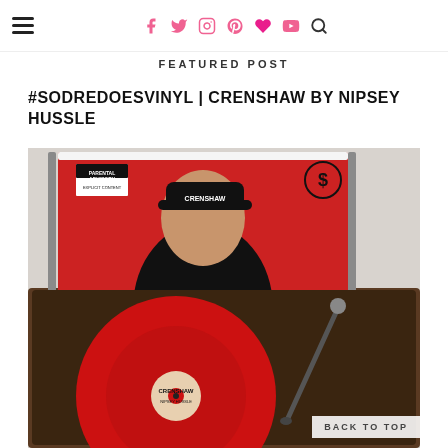☰ [social icons: facebook, twitter, instagram, pinterest, bloglovin, youtube, search]
FEATURED POST
#SODREDOESVINYL | CRENSHAW BY NIPSEY HUSSLE
[Figure (photo): Red vinyl record of Crenshaw by Nipsey Hussle displayed on a vinyl record player with the album cover propped up. The album cover is red with a black-and-white photo of Nipsey Hussle wearing a Crenshaw t-shirt and cap, with CRENSHAW text in bold at the bottom. The red vinyl record below has CRENSHAW label visible.]
BACK TO TOP